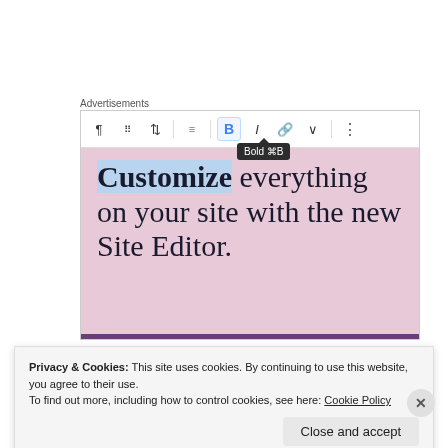Advertisements
[Figure (screenshot): WordPress block editor screenshot showing a toolbar with Bold button active and tooltip 'Bold ⌘B', over a pink background with large text: 'Customize everything on your site with the new Site Editor.']
Chris Hannifin
Privacy & Cookies: This site uses cookies. By continuing to use this website, you agree to their use.
To find out more, including how to control cookies, see here: Cookie Policy
Close and accept